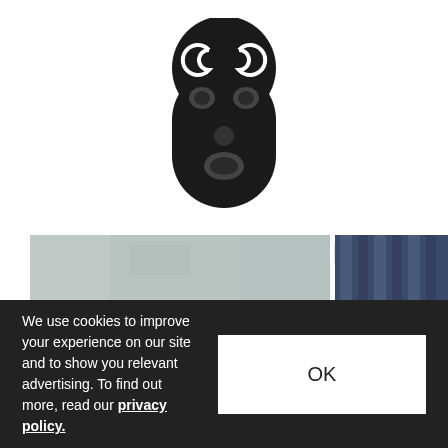[Figure (illustration): A dark ghost-shaped figure wearing a ski mask with a Chanel logo on the forehead, rendered as a stylized emoji/icon on white background]
Vinny Cha$e featuring Kid Art - Hustle
Less than a day after releasing the song, Harlem rapper Vinny Cha$e gives us the visuals for his
Music   Jun 22, 2013   86   0
[Figure (photo): Partial thumbnail image showing a weathered concrete wall and blue vertical lines, cropped at bottom of page]
We use cookies to improve your experience on our site and to show you relevant advertising. To find out more, read our privacy policy.